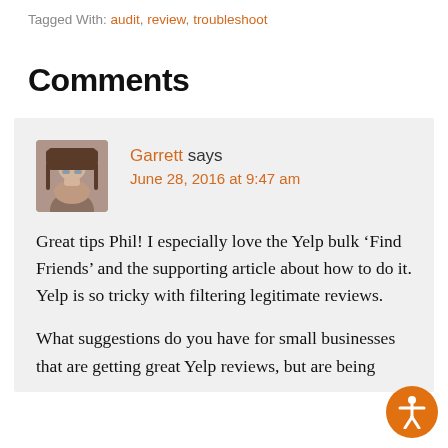Tagged With: audit, review, troubleshoot
Comments
Garrett says
June 28, 2016 at 9:47 am
Great tips Phil! I especially love the Yelp bulk ‘Find Friends’ and the supporting article about how to do it. Yelp is so tricky with filtering legitimate reviews.

What suggestions do you have for small businesses that are getting great Yelp reviews, but are being